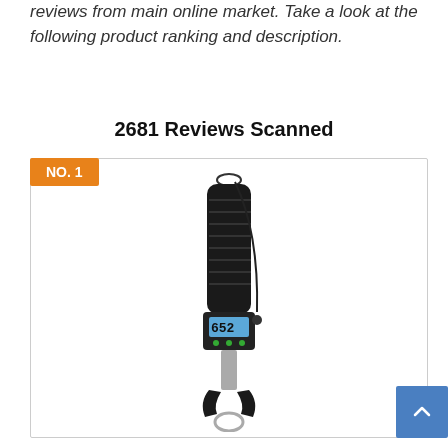reviews from main online market. Take a look at the following product ranking and description.
2681 Reviews Scanned
NO. 1
[Figure (photo): Photo of a digital fish lip grip tool with LCD display, black rubber handle, and stainless steel hook, hanging vertically with a wrist cord.]